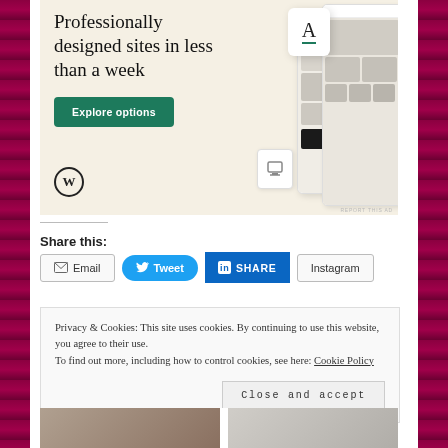[Figure (screenshot): WordPress advertisement banner with beige background. Text reads 'Professionally designed sites in less than a week' with a green 'Explore options' button and WordPress logo. Right side shows mockup screenshots of websites with food photos.]
Share this:
Email  Tweet  SHARE  Instagram
Privacy & Cookies: This site uses cookies. By continuing to use this website, you agree to their use.
To find out more, including how to control cookies, see here: Cookie Policy
Close and accept